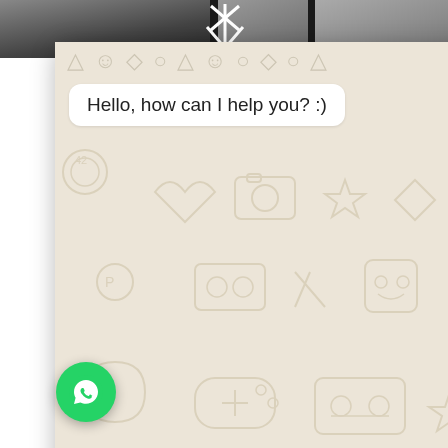[Figure (screenshot): Top portion of a photo showing hands and a dark background]
[Figure (screenshot): WhatsApp chat popup overlay with pattern background, message bubble saying 'Hello, how can I help you? :)', text input field, send button, and close button]
veb host. But website is are amongst vith their first ou to learn g. This will h one is the are hosted nown as the se a website elated to the website. Each and every component of your website is saved on this server, which is then accessed with the help of a web host. It includes various elements in it such as text, image, file
[Figure (logo): WhatsApp green floating action button with phone/chat icon]